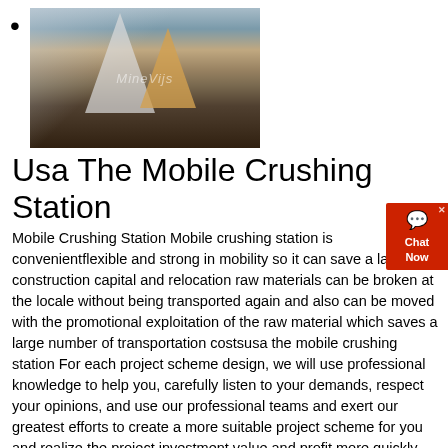[Figure (photo): Outdoor photograph of a mobile crushing station facility with industrial equipment, conveyor structures, triangular frames, and mountainous terrain in the background. Watermark reads 'MineVijs'.]
Usa The Mobile Crushing Station
Mobile Crushing Station Mobile crushing station is convenientflexible and strong in mobility so it can save a large construction capital and relocation raw materials can be broken at the locale without being transported again and also can be moved with the promotional exploitation of the raw material which saves a large number of transportation costsusa the mobile crushing station For each project scheme design, we will use professional knowledge to help you, carefully listen to your demands, respect your opinions, and use our professional teams and exert our greatest efforts to create a more suitable project scheme for you and realize the project investment value and profit more quickly Cone crusher Cone crusher is widely used inusa the mobile crushing stationusa the mobile